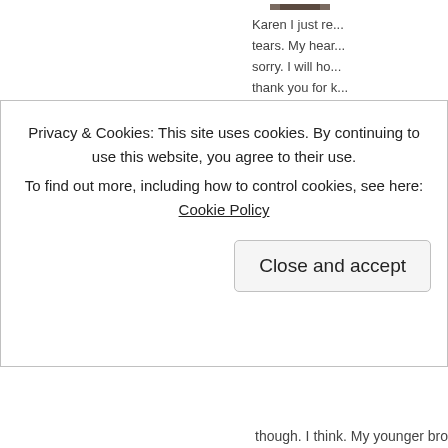[Figure (photo): Partial profile photo visible at top right, cropped]
Karen I just re... tears. My hear... sorry. I will ho... thank you for k... measure of ho... moved to know... and support o... travel it, but by... to prevent ano...
★ Like
Privacy & Cookies: This site uses cookies. By continuing to use this website, you agree to their use.
To find out more, including how to control cookies, see here: Cookie Policy
Close and accept
though. I think. My younger broth...